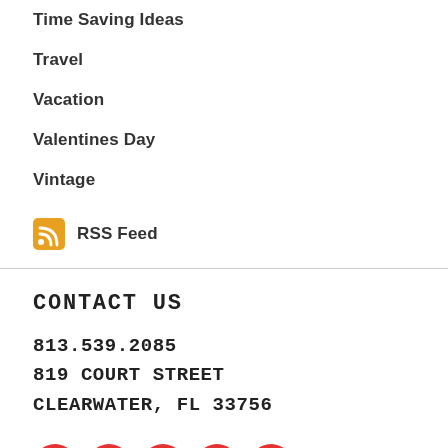Time Saving Ideas
Travel
Vacation
Valentines Day
Vintage
RSS Feed
CONTACT US
813.539.2085
819 COURT STREET
CLEARWATER, FL 33756
[Figure (infographic): Row of 5 red circular social media icons: Facebook, Twitter, Email, Pinterest, Instagram]